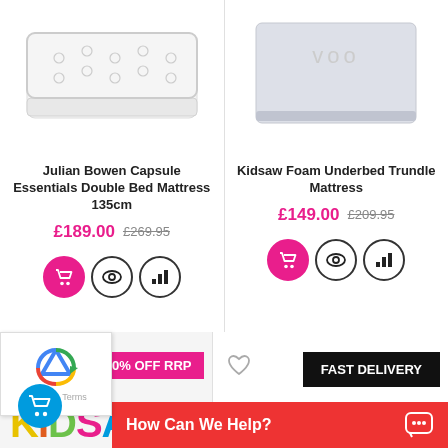[Figure (photo): White tufted mattress product photo for Julian Bowen Capsule Essentials Double Bed Mattress]
Julian Bowen Capsule Essentials Double Bed Mattress 135cm
£189.00  £269.95
[Figure (photo): Light grey foam mattress product photo for Kidsaw Foam Underbed Trundle Mattress]
Kidsaw Foam Underbed Trundle Mattress
£149.00  £209.95
30% OFF RRP
FAST DELIVERY
How Can We Help?